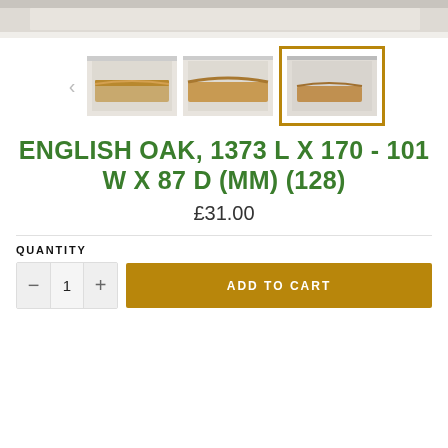[Figure (photo): Top product photo of an English oak wood piece on white background (partially visible at top)]
[Figure (photo): Three thumbnail photos of English oak wood piece; third thumbnail is selected with gold border]
ENGLISH OAK, 1373 L X 170 - 101 W X 87 D (MM) (128)
£31.00
QUANTITY
ADD TO CART